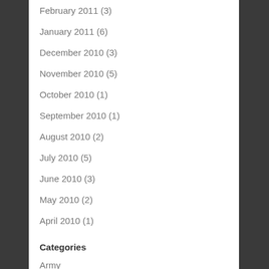February 2011 (3)
January 2011 (6)
December 2010 (3)
November 2010 (5)
October 2010 (1)
September 2010 (1)
August 2010 (2)
July 2010 (5)
June 2010 (3)
May 2010 (2)
April 2010 (1)
Categories
Army
Awesomeness